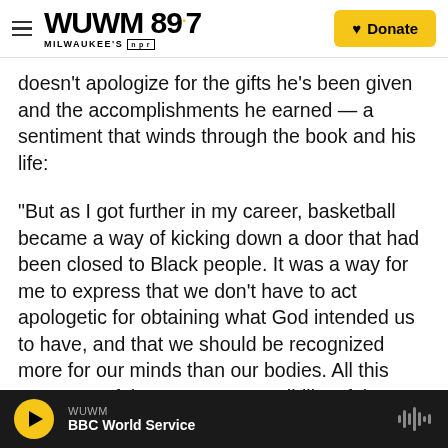WUWM 89.7 MILWAUKEE'S NPR — Donate
doesn't apologize for the gifts he's been given and the accomplishments he earned — a sentiment that winds through the book and his life:
"But as I got further in my career, basketball became a way of kicking down a door that had been closed to Black people. It was a way for me to express that we don't have to act apologetic for obtaining what God intended us to have, and that we should be recognized more for our minds than our bodies. All this came out of the strong responsibility I felt to teach kids more than how to throw a ball through a hoop."
WUWM — BBC World Service